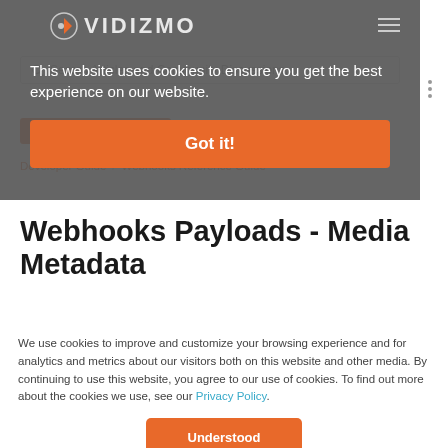[Figure (screenshot): VIDIZMO website header with logo, hamburger menu, and dark overlay cookie banner showing 'This website uses cookies to ensure you get the best experience on our website.' with orange 'Got it!' button, search bar, Solutions Catalog button, and breadcrumb navigation Developer Guide / Webhooks Reference Guide]
Webhooks Payloads - Media Metadata
We use cookies to improve and customize your browsing experience and for analytics and metrics about our visitors both on this website and other media. By continuing to use this website, you agree to our use of cookies. To find out more about the cookies we use, see our Privacy Policy.
Understood